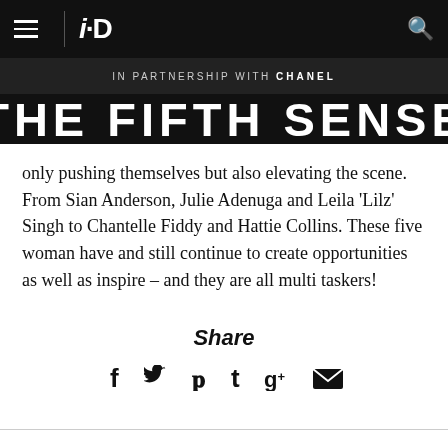i-D | IN PARTNERSHIP WITH CHANEL | THE FIFTH SENSE
only pushing themselves but also elevating the scene. From Sian Anderson, Julie Adenuga and Leila 'Lilz' Singh to Chantelle Fiddy and Hattie Collins. These five woman have and still continue to create opportunities as well as inspire – and they are all multi taskers!
Share